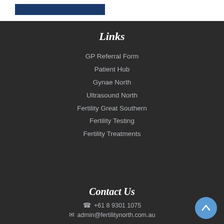[Figure (other): Blue bar/logo banner at top of page on white background]
Links
GP Referral Form
Patient Hub
Gynae North
Ultrasound North
Fertility Great Southern
Fertility Testing
Fertility Treatments
Contact Us
+61 8 9301 1075
admin@fertilitynorth.com.au